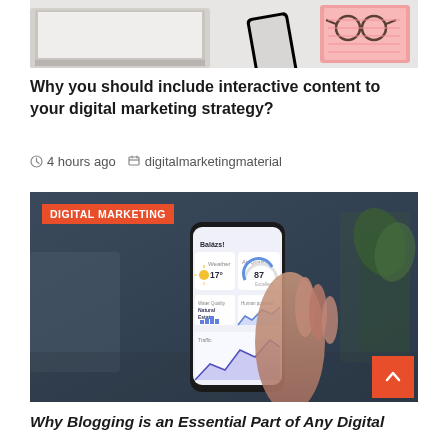[Figure (photo): Top-down view of a desk with a laptop, smartphone, glasses and a pink notebook on a white surface.]
Why you should include interactive content to your digital marketing strategy?
4 hours ago   digitalmarketingmaterial
[Figure (photo): A hand holding a smartphone displaying a colorful analytics dashboard app with weather, air quality gauge showing 87, line charts for traffic and other metrics. A 'DIGITAL MARKETING' badge overlays the top-left corner. An orange scroll-to-top button appears at the bottom right.]
Why Blogging is an Essential Part of Any Digital